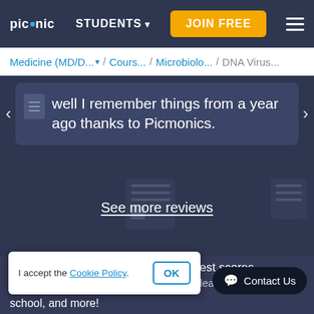[Figure (screenshot): Picmonic website navigation bar with logo, STUDENTS dropdown, JOIN FREE button, and hamburger menu]
Medicine (MD/D... / Cours... / Microbiolo... / DNA Virus...
well I remember things from a year ago thanks to Picmonics.
See more reviews
boost your test scores
al mnemonic learning
I accept the Cookie Policy.
OK
Contact Us
school, and more!